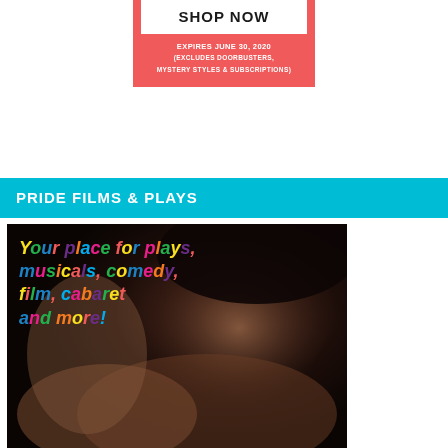[Figure (other): Shop Now button on red/coral background with expiry text: EXPIRES JUNE 30, 2020 and (EXCLUDES DOORBUSTERS, MYSTERY STYLES & SUBSCRIPTIONS)]
PRIDE FILMS & PLAYS
[Figure (photo): Promotional photo for Pride Films & Plays. Dark moody photo of two men about to kiss. Overlaid rainbow-colored italic bold text reading: Your place for plays, musicals, comedy, film, cabaret and more!]